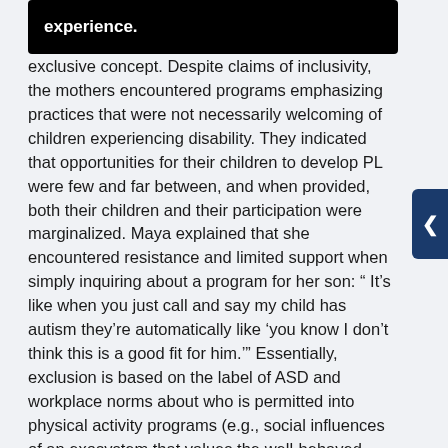experience.
exclusive concept. Despite claims of inclusivity, the mothers encountered programs emphasizing practices that were not necessarily welcoming of children experiencing disability. They indicated that opportunities for their children to develop PL were few and far between, and when provided, both their children and their participation were marginalized. Maya explained that she encountered resistance and limited support when simply inquiring about a program for her son: “ It’s like when you just call and say my child has autism they’re automatically like ‘you know I don’t think this is a good fit for him.’” Essentially, exclusion is based on the label of ASD and workplace norms about who is permitted into physical activity programs (e.g., social influences of an exosystem that values the well-behaved, normally developing, independent, and compliant). Susan